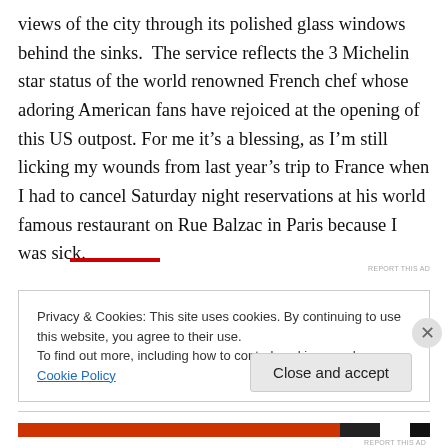views of the city through its polished glass windows behind the sinks.  The service reflects the 3 Michelin star status of the world renowned French chef whose adoring American fans have rejoiced at the opening of this US outpost. For me it's a blessing, as I'm still licking my wounds from last year's trip to France when I had to cancel Saturday night reservations at his world famous restaurant on Rue Balzac in Paris because I was sick.
Privacy & Cookies: This site uses cookies. By continuing to use this website, you agree to their use.
To find out more, including how to control cookies, see here: Cookie Policy